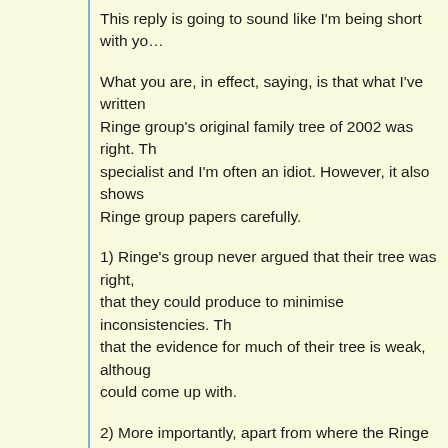This reply is going to sound like I'm being short with yo…
What you are, in effect, saying, is that what I've written … Ringe group's original family tree of 2002 was right. Th… specialist and I'm often an idiot. However, it also shows… Ringe group papers carefully.
1) Ringe's group never argued that their tree was right, … that they could produce to minimise inconsistencies. Th… that the evidence for much of their tree is weak, althoug… could come up with.
2) More importantly, apart from where the Ringe group … (which they've accounted for), the similarities that don't … tree cannot be shared retentions. That is the point. This… adapted tree in this post.
As for the centum-satem subgroup division, I discussed…